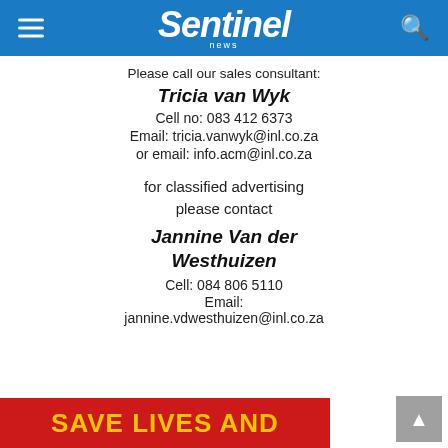Sentinel news
Please call our sales consultant:
Tricia van Wyk
Cell no: 083 412 6373
Email: tricia.vanwyk@inl.co.za
or email: info.acm@inl.co.za
for classified advertising please contact
Jannine Van der Westhuizen
Cell: 084 806 5110
Email: jannine.vdwesthuizen@inl.co.za
[Figure (other): Red banner at bottom with text SAVE LIVES AND in yellow bold letters]